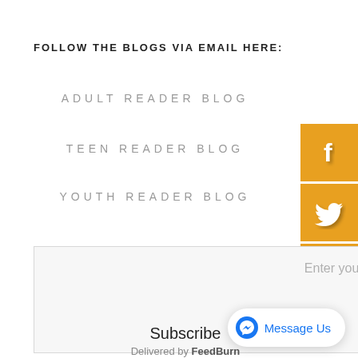FOLLOW THE BLOGS VIA EMAIL HERE:
ADULT READER BLOG
TEEN READER BLOG
YOUTH READER BLOG
[Figure (infographic): Facebook icon button in orange square]
[Figure (infographic): Twitter icon button in orange square]
[Figure (infographic): Pinterest icon button in orange square]
Enter your email address:
Subscribe
Delivered by FeedBurn
[Figure (other): Facebook Messenger chat bubble with text 'Message Us']